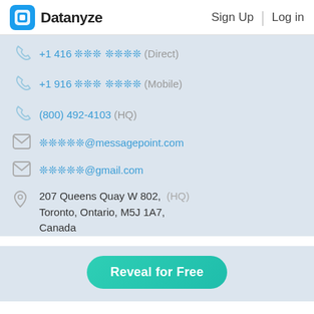Datanyze | Sign Up | Log in
+1 416 ❊❊❊ ❊❊❊❊ (Direct)
+1 916 ❊❊❊ ❊❊❊❊ (Mobile)
(800) 492-4103 (HQ)
❊❊❊❊❊@messagepoint.com
❊❊❊❊❊@gmail.com
207 Queens Quay W 802, (HQ) Toronto, Ontario, M5J 1A7, Canada
Reveal for Free